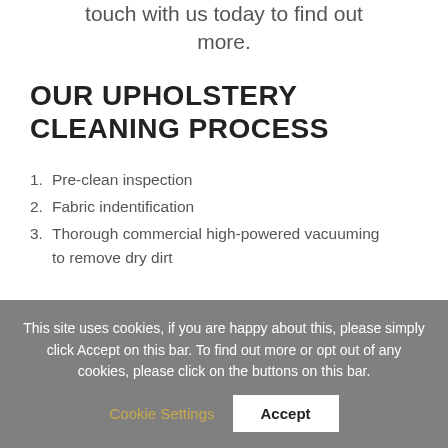touch with us today to find out more.
OUR UPHOLSTERY CLEANING PROCESS
1. Pre-clean inspection
2. Fabric indentification
3. Thorough commercial high-powered vacuuming to remove dry dirt
This site uses cookies, if you are happy about this, please simply click Accept on this bar. To find out more or opt out of any cookies, please click on the buttons on this bar.
Cookie Settings | Accept